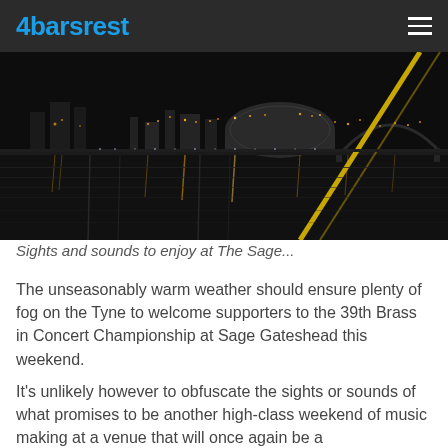4barsrest
[Figure (photo): Night-time photograph of Sage Gateshead and the Tyne Bridge area, showing illuminated buildings and their reflections on the River Tyne, with a bright yellow cable of the Millennium Bridge visible in the foreground.]
Sights and sounds to enjoy at The Sage...
The unseasonably warm weather should ensure plenty of fog on the Tyne to welcome supporters to the 39th Brass in Concert Championship at Sage Gateshead this weekend.
It’s unlikely however to obfuscate the sights or sounds of what promises to be another high-class weekend of music making at a venue that will once again be a